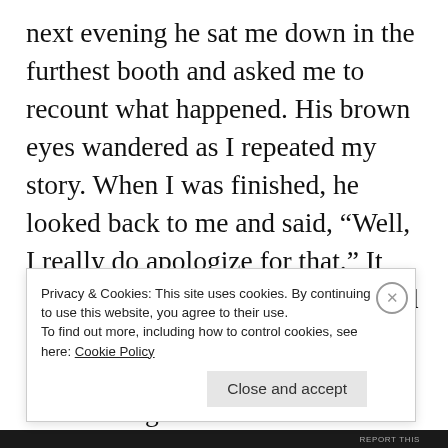next evening he sat me down in the furthest booth and asked me to recount what happened. His brown eyes wandered as I repeated my story. When I was finished, he looked back to me and said, “Well, I really do apologize for that.” It was the same practiced line he used with unhappy customers. Still, I was grateful for the acknowledgement.
The owners never spoke to me regarding this, although I presume they witnessed everything when they checked the cameras’ footage from that night. Emilio continued
Privacy & Cookies: This site uses cookies. By continuing to use this website, you agree to their use.
To find out more, including how to control cookies, see here: Cookie Policy
Close and accept
REPORT THIS